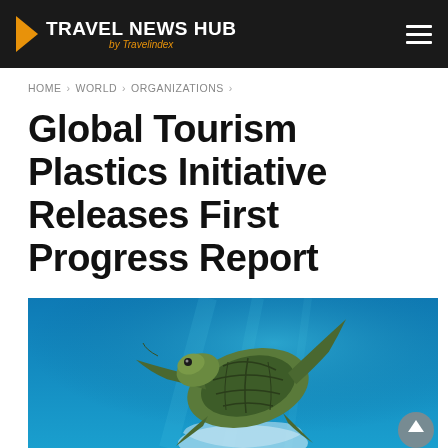TRAVEL NEWS HUB by Travelindex
HOME › WORLD › ORGANIZATIONS ›
Global Tourism Plastics Initiative Releases First Progress Report
[Figure (photo): Underwater photograph of a sea turtle swimming over a plastic bag in blue ocean water]